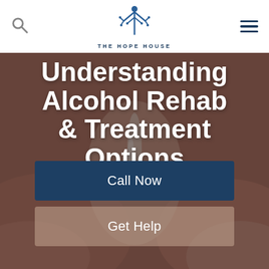THE HOPE HOUSE
[Figure (photo): Hero background photo of cupped hands with water flowing, overlaid with semi-transparent dark tint. Large white bold text reads 'Understanding Alcohol Rehab & Treatment Options' with two CTA buttons: 'Call Now' (dark navy) and 'Get Help' (semi-transparent tan).]
Understanding Alcohol Rehab & Treatment Options
Call Now
Get Help